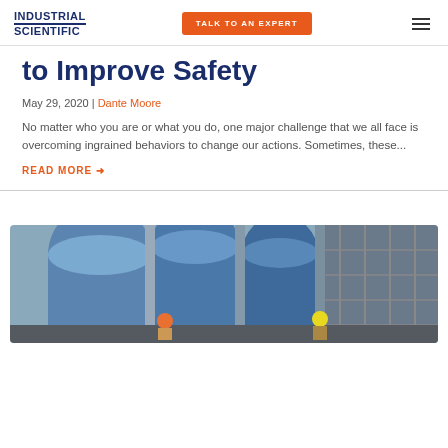INDUSTRIAL SCIENTIFIC | TALK TO AN EXPERT
to Improve Safety
May 29, 2020 | Dante Moore
No matter who you are or what you do, one major challenge that we all face is overcoming ingrained behaviors to change our actions. Sometimes, these...
READ MORE →
[Figure (photo): Industrial facility exterior with large blue cylindrical tanks and workers in safety helmets visible at the bottom]